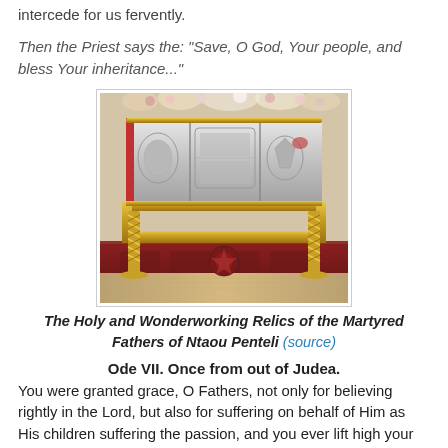intercede for us fervently.
Then the Priest says the: "Save, O God, Your people, and bless Your inheritance..."
[Figure (photo): A silver reliquary/casket containing holy relics, decorated with religious engravings, resting on an ornate golden stand with twisted columns, placed on a decorative red carpet with floral patterns, with flowers in the background.]
The Holy and Wonderworking Relics of the Martyred Fathers of Ntaou Penteli (source)
Ode VII. Once from out of Judea.
You were granted grace, O Fathers, not only for believing rightly in the Lord, but also for suffering on behalf of Him as His children suffering the passion, and you ever lift high your cross. Therefore, make us to be His imitators along with you with joy.